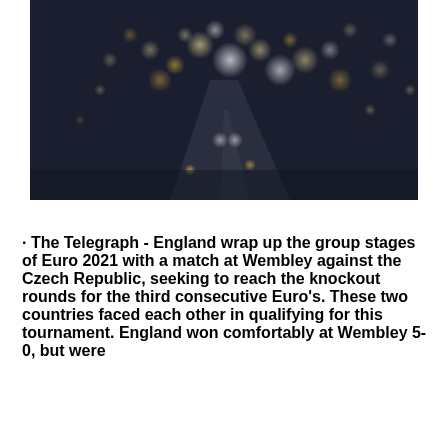[Figure (photo): Night city traffic photo with bokeh lights, aerial view of cars on a highway at night, blurred bokeh headlights and taillights]
· The Telegraph - England wrap up the group stages of Euro 2021 with a match at Wembley against the Czech Republic, seeking to reach the knockout rounds for the third consecutive Euro's. These two countries faced each other in qualifying for this tournament. England won comfortably at Wembley 5-0, but were